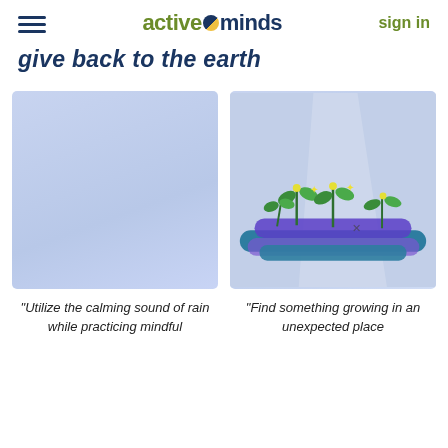active minds  sign in
give back to the earth
[Figure (illustration): Light blue/lavender background illustration card, blank/solid color]
[Figure (illustration): Light blue background illustration with plants growing from purple/blue horizontal bands, with yellow sparkle lights, in an artistic style]
"Utilize the calming sound of rain while practicing mindful
"Find something growing in an unexpected place